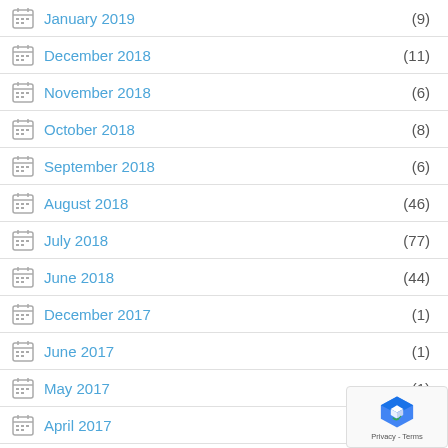January 2019 (9)
December 2018 (11)
November 2018 (6)
October 2018 (8)
September 2018 (6)
August 2018 (46)
July 2018 (77)
June 2018 (44)
December 2017 (1)
June 2017 (1)
May 2017 (1)
April 2017
March 2017 (1)